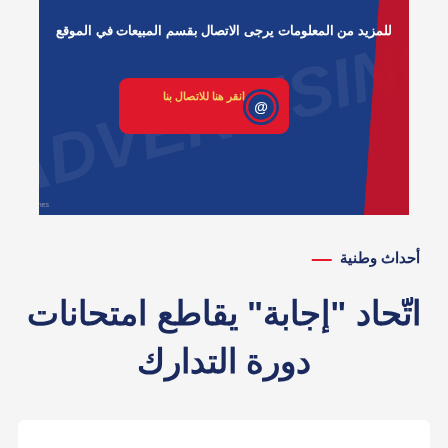[Figure (screenshot): Advertisement banner with dark blue background, Arabic text at top reading 'للمزيد من المعلومات يرجى الاتصال بقسم المبيعات في الموقع', a red button in the center with Arabic text 'انقر هنا للاتصال بنا' and an @ icon, red stripe on right side, and small text at bottom left.]
أحداث وطنية
اتّحاد "إجابة" يقاطع امتحانات دورة التدارك